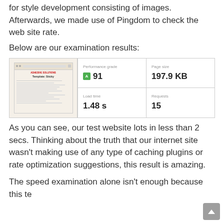for style development consisting of images. Afterwards, we made use of Pingdom to check the web site rate.
Below are our examination results:
[Figure (screenshot): Pingdom speed test results showing a preview of Template: Sticky page alongside metrics: Performance grade A 91, Page size 197.9 KB, Load time 1.48 s, Requests 15]
As you can see, our test website lots in less than 2 secs. Thinking about the truth that our internet site wasn't making use of any type of caching plugins or rate optimization suggestions, this result is amazing.
The speed examination alone isn't enough because this te